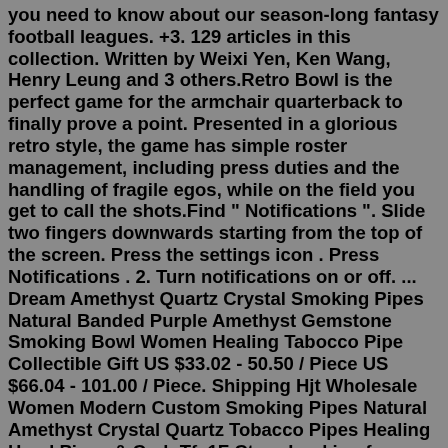you need to know about our season-long fantasy football leagues. +3. 129 articles in this collection. Written by Weixi Yen, Ken Wang, Henry Leung and 3 others.Retro Bowl is the perfect game for the armchair quarterback to finally prove a point. Presented in a glorious retro style, the game has simple roster management, including press duties and the handling of fragile egos, while on the field you get to call the shots.Find " Notifications ". Slide two fingers downwards starting from the top of the screen. Press the settings icon . Press Notifications . 2. Turn notifications on or off. ... Dream Amethyst Quartz Crystal Smoking Pipes Natural Banded Purple Amethyst Gemstone Smoking Bowl Women Healing Tabocco Pipe Collectible Gift US $33.02 - 50.50 / Piece US $66.04 - 101.00 / Piece. Shipping Hjt Wholesale Women Modern Custom Smoking Pipes Natural Amethyst Crystal Quartz Tobacco Pipes Healing Hand Pipes & Carb Tfx1F Ctsxy.Looking for Retro Bowl hack cheats that can be dangerous? Better read helpful hints, advices and test strategies